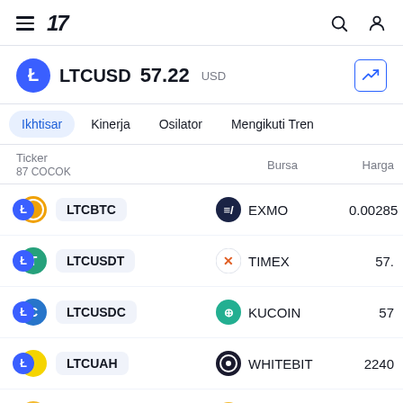TradingView navigation bar with hamburger menu, TV logo, search and profile icons
LTCUSD 57.22 USD
Ikhtisar
Kinerja
Osilator
Mengikuti Tren
| Ticker
87 COCOK | Bursa | Harga |
| --- | --- | --- |
| LTCBTC | EXMO | 0.00285 |
| LTCUSDT | TIMEX | 57. |
| LTCUSDC | KUCOIN | 57 |
| LTCUAH | WHITEBIT | 2240 |
| LTCBNB | BINANCE | 0.2 |